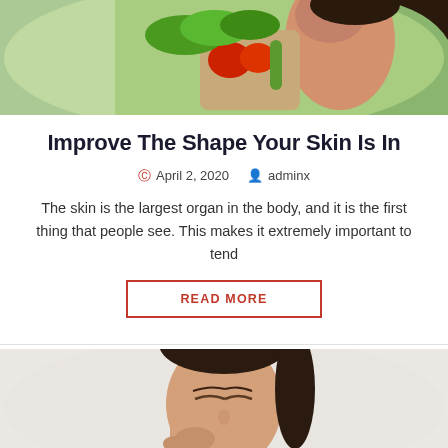[Figure (photo): Woman holding a bag of fresh vegetables including red peppers, lettuce, and green vegetables against a green background]
Improve The Shape Your Skin Is In
April 2, 2020   adminx
The skin is the largest organ in the body, and it is the first thing that people see. This makes it extremely important to tend
READ MORE
[Figure (photo): Woman with eyes closed holding or applying something near her face, light background, wellness or skincare theme]